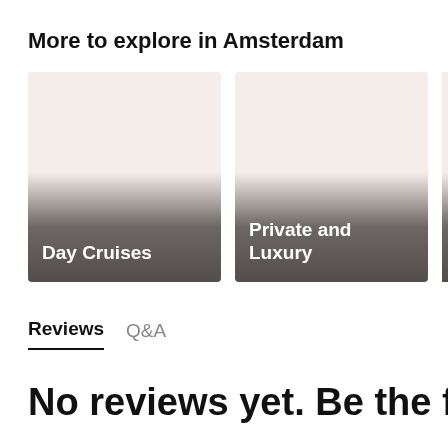More to explore in Amsterdam
[Figure (photo): Card with label 'Day Cruises' — pinkish-beige background with dark gradient overlay at bottom]
[Figure (photo): Card with label 'Private and Luxury' — pinkish-beige background with dark gradient overlay at bottom]
[Figure (photo): Partially visible card starting with letter 'B' — pinkish-beige background with dark gradient overlay at bottom]
Reviews   Q&A
No reviews yet. Be the fi...